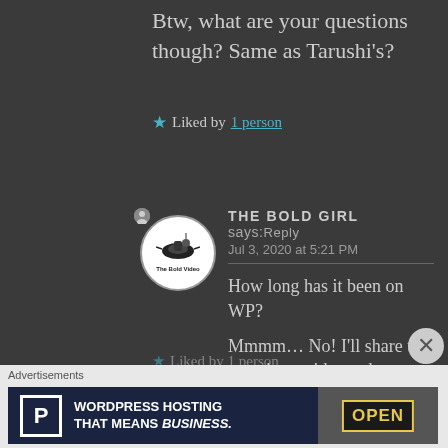Btw, what are your questions though? Same as Tarushi's?
★ Liked by 1 person
[Figure (logo): Circular avatar logo for 'The Bold Video' with helicopter graphic]
THE BOLD GIRL says: Reply
Jul 3, 2020 at 5:21 PM
How long has it been on WP?
Mmmm… No! I'll share the questions with you here.
★ Liked by 1 person
Advertisements
[Figure (screenshot): WordPress Hosting advertisement banner reading 'WORDPRESS HOSTING THAT MEANS BUSINESS.' with an Open sign photo on the right]